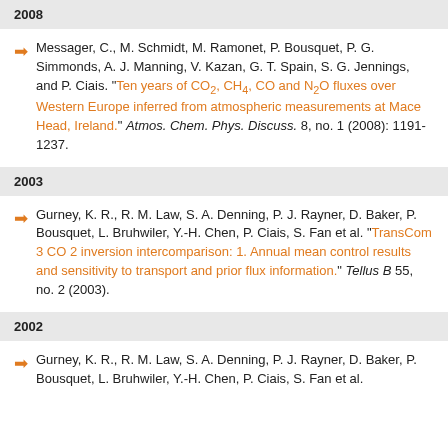2008
Messager, C., M. Schmidt, M. Ramonet, P. Bousquet, P. G. Simmonds, A. J. Manning, V. Kazan, G. T. Spain, S. G. Jennings, and P. Ciais. "Ten years of CO2, CH4, CO and N2O fluxes over Western Europe inferred from atmospheric measurements at Mace Head, Ireland." Atmos. Chem. Phys. Discuss. 8, no. 1 (2008): 1191-1237.
2003
Gurney, K. R., R. M. Law, S. A. Denning, P. J. Rayner, D. Baker, P. Bousquet, L. Bruhwiler, Y.-H. Chen, P. Ciais, S. Fan et al. "TransCom 3 CO 2 inversion intercomparison: 1. Annual mean control results and sensitivity to transport and prior flux information." Tellus B 55, no. 2 (2003).
2002
Gurney, K. R., R. M. Law, S. A. Denning, P. J. Rayner, D. Baker, P. Bousquet, L. Bruhwiler, Y.-H. Chen, P. Ciais, S. Fan et al.